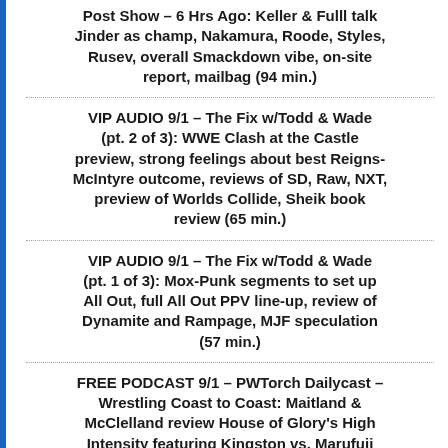Post Show – 6 Hrs Ago: Keller & Fulll talk Jinder as champ, Nakamura, Roode, Styles, Rusev, overall Smackdown vibe, on-site report, mailbag (94 min.)
VIP AUDIO 9/1 – The Fix w/Todd & Wade (pt. 2 of 3): WWE Clash at the Castle preview, strong feelings about best Reigns-McIntyre outcome, reviews of SD, Raw, NXT, preview of Worlds Collide, Sheik book review (65 min.)
VIP AUDIO 9/1 – The Fix w/Todd & Wade (pt. 1 of 3): Mox-Punk segments to set up All Out, full All Out PPV line-up, review of Dynamite and Rampage, MJF speculation (57 min.)
FREE PODCAST 9/1 – PWTorch Dailycast – Wrestling Coast to Coast: Maitland & McClelland review House of Glory's High Intensity featuring Kingston vs. Marufuji